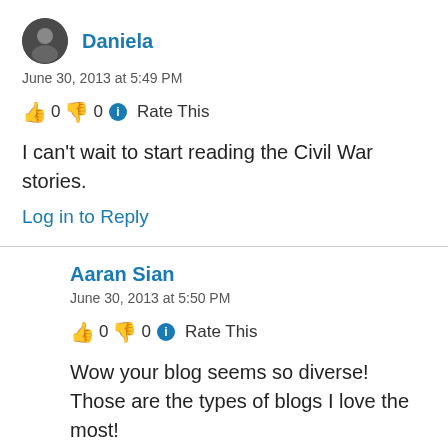Daniela
June 30, 2013 at 5:49 PM
👍 0 👎 0 ℹ Rate This
I can't wait to start reading the Civil War stories.
Log in to Reply
Aaran Sian
June 30, 2013 at 5:50 PM
👍 0 👎 0 ℹ Rate This
Wow your blog seems so diverse! Those are the types of blogs I love the most!